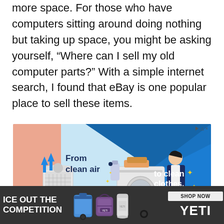more space. For those who have computers sitting around doing nothing but taking up space, you might be asking yourself, “Where can I sell my old computer parts?” With a simple internet search, I found that eBay is one popular place to sell these items.
[Figure (illustration): An advertisement banner with light blue background showing 'From clean air to clean clothes.' with illustrations of an air purifier, washing machine, and a person in a lab coat. Has a diagonal dark blue section on right side with stars decoration. Shows a play/close icon in top right corner.]
[Figure (illustration): A dark grey advertisement banner for YETI reading 'ICE OUT THE COMPETITION' with product images of YETI coolers, bags, and cups, and a 'SHOP NOW' button on the right.]